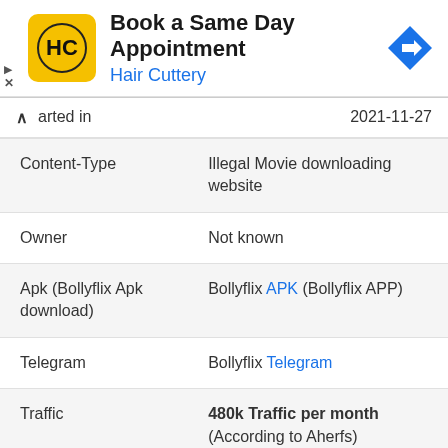[Figure (screenshot): Hair Cuttery advertisement banner: 'Book a Same Day Appointment' with HC logo and blue arrow icon]
| Field | Value |
| --- | --- |
| arted in | 2021-11-27 |
| Content-Type | Illegal Movie downloading website |
| Owner | Not known |
| Apk (Bollyflix Apk download) | Bollyflix APK (Bollyflix APP) |
| Telegram | Bollyflix Telegram |
| Traffic | 480k Traffic per month (According to Aherfs) |